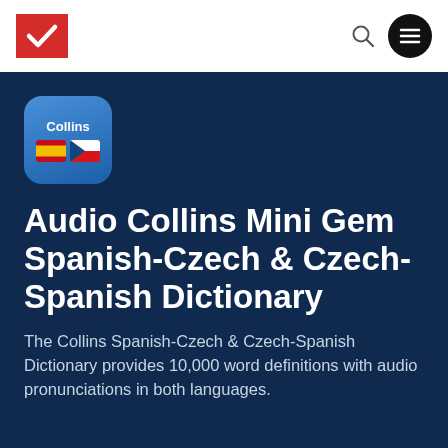Collins Mini Gem Dictionary app header navigation
[Figure (logo): Collins dictionary app icon showing the Collins wordmark and Spanish and Czech flag emoji]
Audio Collins Mini Gem Spanish-Czech & Czech-Spanish Dictionary
The Collins Spanish-Czech & Czech-Spanish Dictionary provides 10,000 word definitions with audio pronunciations in both languages.